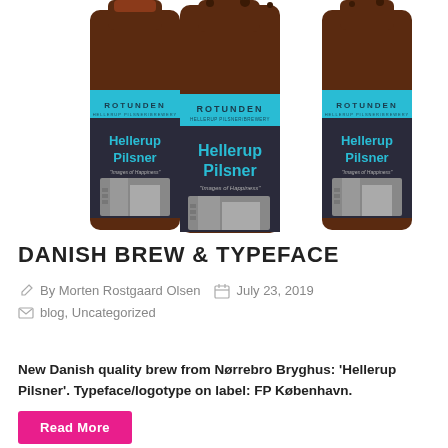[Figure (photo): Three dark amber beer bottles with labels reading 'ROTUNDEN Hellerup Pilsner' featuring a cyan/teal band at top and a grey architectural building image below on the label.]
DANISH BREW & TYPEFACE
By Morten Rostgaard Olsen   July 23, 2019
blog, Uncategorized
New Danish quality brew from Nørrebro Bryghus: 'Hellerup Pilsner'. Typeface/logotype on label: FP København.
Read More